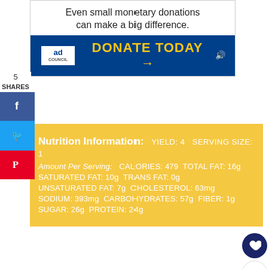[Figure (other): Ad Council advertisement with text 'Even small monetary donations can make a big difference.' and a blue DONATE TODAY banner with arrow]
Even small monetary donations can make a big difference.
DONATE TODAY →
5 SHARES
Nutrition Information: YIELD: 4  SERVING SIZE: 1  Amount Per Serving: CALORIES: 479 TOTAL FAT: 16g SATURATED FAT: 10g TRANS FAT: 0g UNSATURATED FAT: 7g CHOLESTEROL: 63mg SODIUM: 393mg CARBOHYDRATES: 57g FIBER: 1g SUGAR: 26g PROTEIN: 24g
Did you make this recipe? Tag me on social (@bluebonnetbaker)
[Figure (other): Bottom ad: You can help hungry kids. No Kid Hungry logo. LEARN HOW button.]